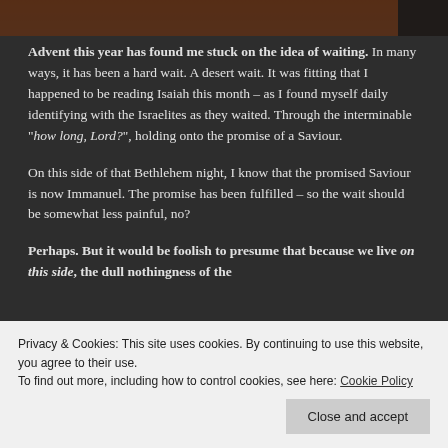[Figure (photo): Dark brownish image strip at the top of the page, appears to be a nature/forest photo cropped to a narrow horizontal band]
Advent this year has found me stuck on the idea of waiting. In many ways, it has been a hard wait. A desert wait. It was fitting that I happened to be reading Isaiah this month – as I found myself daily identifying with the Israelites as they waited. Through the interminable "how long, Lord?", holding onto the promise of a Saviour.
On this side of that Bethlehem night, I know that the promised Saviour is now Immanuel. The promise has been fulfilled – so the wait should be somewhat less painful, no?
Perhaps. But it would be foolish to presume that because we live on this side, the dull nothingness of the
Privacy & Cookies: This site uses cookies. By continuing to use this website, you agree to their use.
To find out more, including how to control cookies, see here: Cookie Policy
a rainforest, not a desert. Continue reading →